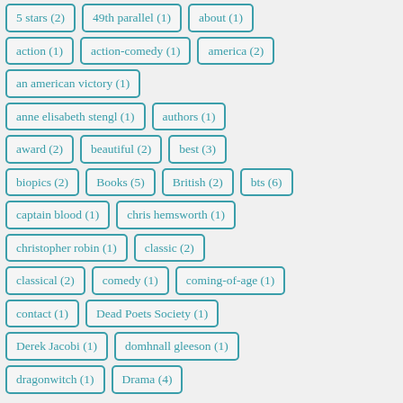5 stars (2)
49th parallel (1)
about (1)
action (1)
action-comedy (1)
america (2)
an american victory (1)
anne elisabeth stengl (1)
authors (1)
award (2)
beautiful (2)
best (3)
biopics (2)
Books (5)
British (2)
bts (6)
captain blood (1)
chris hemsworth (1)
christopher robin (1)
classic (2)
classical (2)
comedy (1)
coming-of-age (1)
contact (1)
Dead Poets Society (1)
Derek Jacobi (1)
domhnall gleeson (1)
dragonwitch (1)
Drama (4)